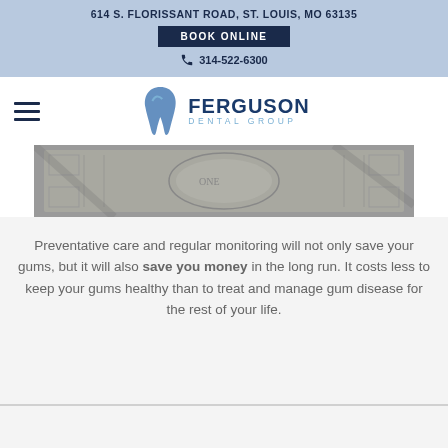614 S. FLORISSANT ROAD, ST. LOUIS, MO 63135
BOOK ONLINE
314-522-6300
[Figure (logo): Ferguson Dental Group logo with stylized tooth/leaf icon and text FERGUSON DENTAL GROUP]
[Figure (photo): Close-up photo of US dollar bills, black and white toned]
Preventative care and regular monitoring will not only save your gums, but it will also save you money in the long run. It costs less to keep your gums healthy than to treat and manage gum disease for the rest of your life.